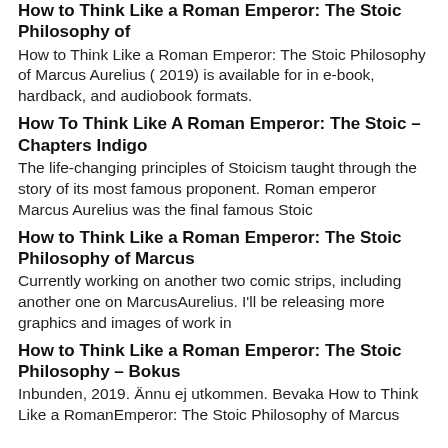How to Think Like a Roman Emperor: The Stoic Philosophy of
How to Think Like a Roman Emperor: The Stoic Philosophy of Marcus Aurelius ( 2019) is available for in e-book, hardback, and audiobook formats.
How To Think Like A Roman Emperor: The Stoic – Chapters Indigo
The life-changing principles of Stoicism taught through the story of its most famous proponent. Roman emperor Marcus Aurelius was the final famous Stoic
How to Think Like a Roman Emperor: The Stoic Philosophy of Marcus
Currently working on another two comic strips, including another one on MarcusAurelius. I'll be releasing more graphics and images of work in
How to Think Like a Roman Emperor: The Stoic Philosophy – Bokus
Inbunden, 2019. Ännu ej utkommen. Bevaka How to Think Like a RomanEmperor: The Stoic Philosophy of Marcus